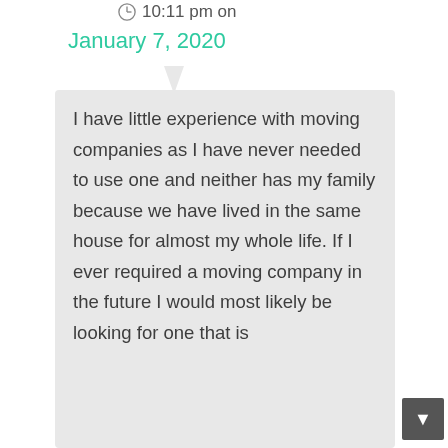10:11 pm on
January 7, 2020
I have little experience with moving companies as I have never needed to use one and neither has my family because we have lived in the same house for almost my whole life. If I ever required a moving company in the future I would most likely be looking for one that is